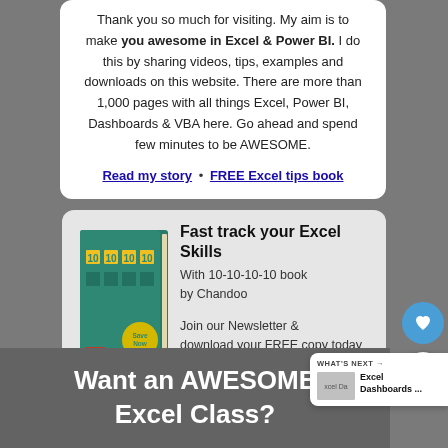Thank you so much for visiting. My aim is to make you awesome in Excel & Power BI. I do this by sharing videos, tips, examples and downloads on this website. There are more than 1,000 pages with all things Excel, Power BI, Dashboards & VBA here. Go ahead and spend few minutes to be AWESOME.
Read my story • FREE Excel tips book
[Figure (illustration): Book ad card showing the 10-10-10-10 book by Chandoo with a green CTA button to sign up and download a free copy]
Want an AWESOME Excel Class?